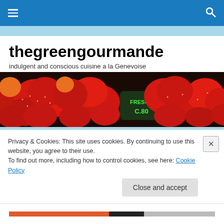thegreengourmande – navigation bar
thegreengourmande
indulgent and conscious cuisine a la Genevoise
[Figure (photo): Close-up of fresh red strawberries at a market stall with a green price sign reading 'FRESON C.80']
Kytoly: A cocktail with a side
Privacy & Cookies: This site uses cookies. By continuing to use this website, you agree to their use.
To find out more, including how to control cookies, see here: Cookie Policy
Close and accept